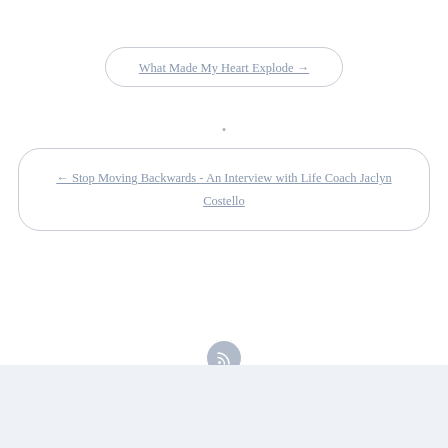What Made My Heart Explode →
•
← Stop Moving Backwards - An Interview with Life Coach Jaclyn Costello
Casper WP by Lacy Morrow